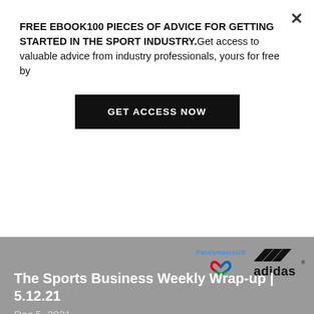FREE EBOOK100 PIECES OF ADVICE FOR GETTING STARTED IN THE SPORT INDUSTRY.Get access to valuable advice from industry professionals, yours for free by
GET ACCESS NOW
[Figure (logo): ParalympicsGB logo with agitos symbol and Adidas logo side by side on grey background]
The Sports Business Weekly Wrap-up | 5.12.21
Dec 5, 2021